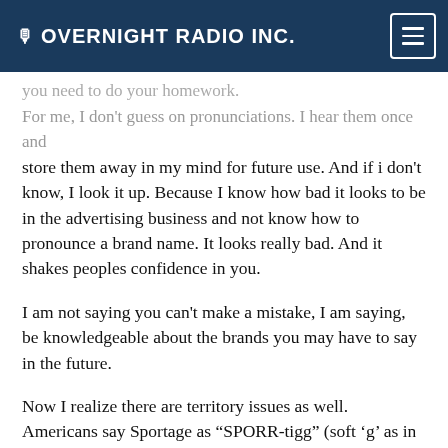OVERNIGHT RADIO INC.
you need to do your homework. For me, I don't guess on pronunciations.  I hear them once and store them away in my mind for future use.  And if i don't know,  I look it up.  Because I know how bad it looks to be in the advertising business and not know how to pronounce a brand name.  It looks really bad.  And it shakes peoples confidence in you.
I am not saying you can't make a mistake, I am saying,  be knowledgeable about the brands you may have to say in the future.
Now I realize there are territory issues as well.  Americans say Sportage as “SPORR-tigg” (soft ‘g’ as in porridge) and Canadians say “sporr-TAWGG” (like garage).  But even that piece of knowledge should be known by a voice over artist in either country.